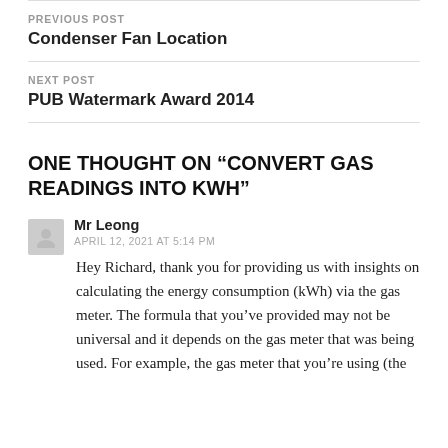PREVIOUS POST
Condenser Fan Location
NEXT POST
PUB Watermark Award 2014
ONE THOUGHT ON “CONVERT GAS READINGS INTO KWH”
Mr Leong
APRIL 12, 2021 AT 5:14 PM
Hey Richard, thank you for providing us with insights on calculating the energy consumption (kWh) via the gas meter. The formula that you’ve provided may not be universal and it depends on the gas meter that was being used. For example, the gas meter that you’re using (the